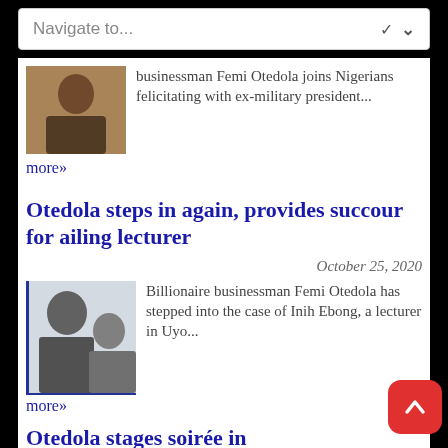Navigate to...
businessman Femi Otedola joins Nigerians felicitating with ex-military president...
more»
Otedola steps in again, provides succour for ailing lecturer
October 25, 2020
Billionaire businessman Femi Otedola has stepped into the case of Inih Ebong, a lecturer in Uyo...
more»
Otedola stages soirée in